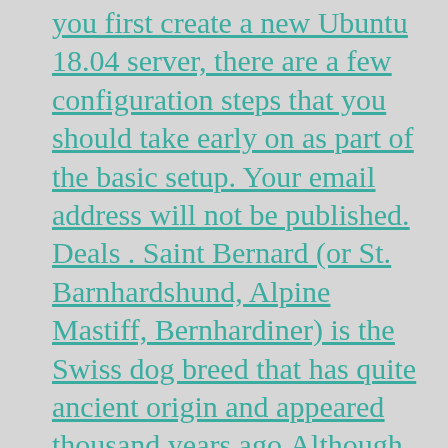you first create a new Ubuntu 18.04 server, there are a few configuration steps that you should take early on as part of the basic setup. Your email address will not be published. Deals . Saint Bernard (or St. Barnhardshund, Alpine Mastiff, Bernhardiner) is the Swiss dog breed that has quite ancient origin and appeared thousand years ago.Although Saint Bernard dogs have giant appearance, their personalities are very calm and gentle. This dog breed is very mild, and does not usually change emotions (happy or angry, over fierce). Prix : 5,95€* Taux de remboursement : Non remboursé. Being powerful and well muscled, the Saint Bernard dog has the qualities required to travel